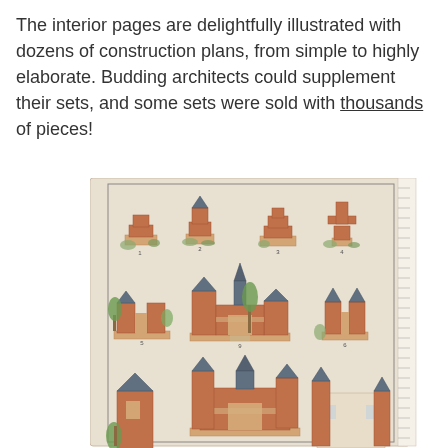The interior pages are delightfully illustrated with dozens of construction plans, from simple to highly elaborate. Budding architects could supplement their sets, and some sets were sold with thousands of pieces!
[Figure (illustration): A vintage illustrated page showing numbered building construction plans made from toy building blocks/stones. The page displays 9 numbered structures (labeled 1-9 and beyond) arranged in three rows, showing progressively more elaborate buildings from simple stacked blocks to complex castle-like structures with towers and arches. The illustrations are in a warm sepia/tan background with terracotta-colored blocks and grey-blue roofs, with decorative trees and foliage. A ruler/scale is visible along the right edge.]